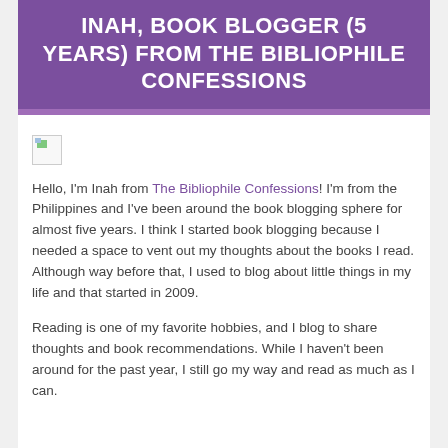INAH, BOOK BLOGGER (5 YEARS) FROM THE BIBLIOPHILE CONFESSIONS
[Figure (photo): Broken image placeholder thumbnail]
Hello, I'm Inah from The Bibliophile Confessions! I'm from the Philippines and I've been around the book blogging sphere for almost five years. I think I started book blogging because I needed a space to vent out my thoughts about the books I read. Although way before that, I used to blog about little things in my life and that started in 2009.
Reading is one of my favorite hobbies, and I blog to share thoughts and book recommendations. While I haven't been around for the past year, I still go my way and read as much as I can.